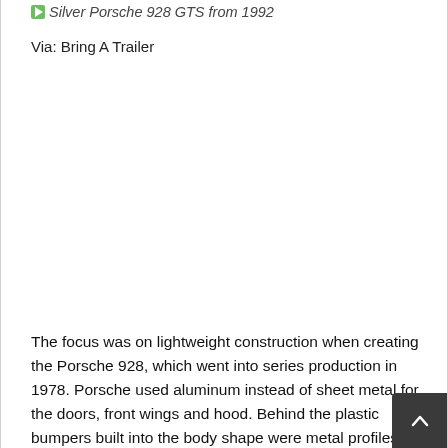Silver Porsche 928 GTS from 1992
Via: Bring A Trailer
[Figure (photo): Image placeholder area for Silver Porsche 928 GTS from 1992]
The focus was on lightweight construction when creating the Porsche 928, which went into series production in 1978. Porsche used aluminum instead of sheet metal for the doors, front wings and hood. Behind the plastic bumpers built into the body shape were metal profiles t